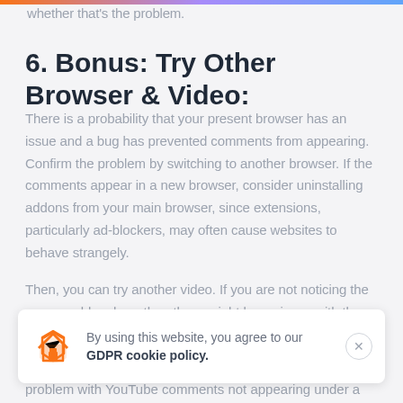whether that's the problem.
6. Bonus: Try Other Browser & Video:
There is a probability that your present browser has an issue and a bug has prevented comments from appearing. Confirm the problem by switching to another browser. If the comments appear in a new browser, consider uninstalling addons from your main browser, since extensions, particularly ad-blockers, may often cause websites to behave strangely.
Then, you can try another video. If you are not noticing the same problem here then there might be an issue with the previous one.
problem with YouTube comments not appearing under a
By using this website, you agree to our GDPR cookie policy.